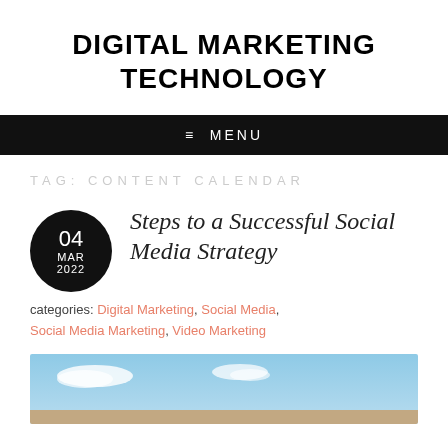DIGITAL MARKETING TECHNOLOGY
≡ MENU
TAG: CONTENT CALENDAR
Steps to a Successful Social Media Strategy
categories: Digital Marketing, Social Media, Social Media Marketing, Video Marketing
[Figure (photo): Outdoor sky and landscape photo with blue sky, clouds, and ground]